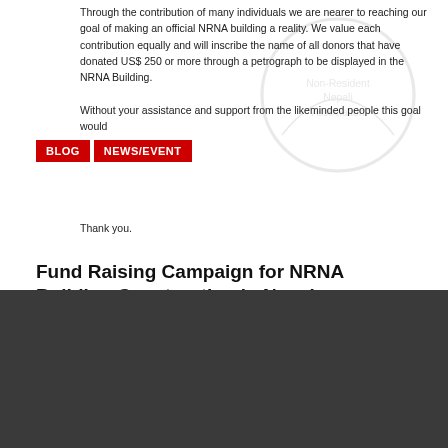Through the contribution of many individuals we are nearer to reaching our goal of making an official NRNA building a reality. We value each contribution equally and will inscribe the name of all donors that have donated US$ 250 or more through a petrograph to be displayed in the NRNA Building.
Without your assistance and support from the likeminded people this goal would
Thank you.
BLOG  NEWS/EVENT
Fund Raising Campaign for NRNA Building Construction in Nepal
November 2, 2014 / CNFS
CHICAGO
1020 W. BRYN MAWR AVE,
SUITE 209, CHICAGO,
IL 60660.